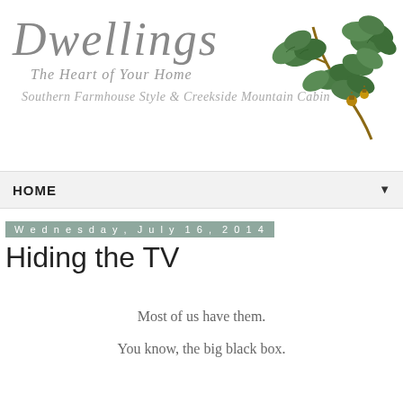[Figure (logo): Dwellings blog logo with cursive/script text 'Dwellings', subtitle 'The Heart of Your Home', secondary line 'Southern Farmhouse Style & Creekside Mountain Cabin', and decorative oak branch illustration on the right.]
HOME ▼
Wednesday, July 16, 2014
Hiding the TV
Most of us have them.
You know, the big black box.